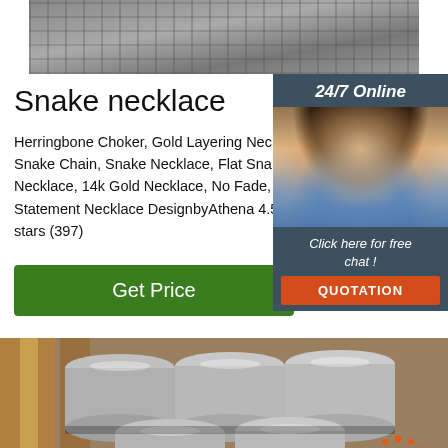[Figure (photo): Close-up photo of metal rods/steel bar stock from above, grey textured surface]
Snake necklace
Herringbone Choker, Gold Layering Necklace, Snake Chain, Snake Necklace, Flat Snake Necklace, 14k Gold Necklace, No Fade, Statement Necklace DesignbyAthena 4.5 stars (397)
[Figure (infographic): 24/7 Online chat widget with customer service agent photo, 'Click here for free chat!' text, and QUOTATION button]
Get Price
[Figure (photo): Industrial metal round steel bars/rods stacked together in a warehouse setting, with a TOP logo overlay in the bottom right corner]